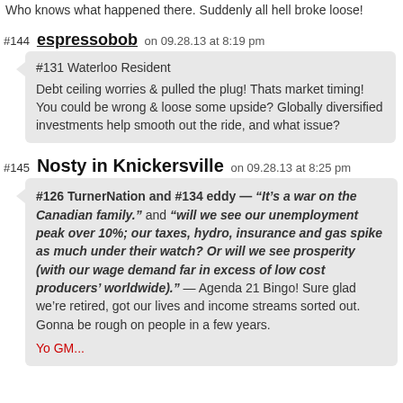Who knows what happened there. Suddenly all hell broke loose!
#144 espressobob on 09.28.13 at 8:19 pm
#131 Waterloo Resident

Debt ceiling worries & pulled the plug! Thats market timing! You could be wrong & loose some upside? Globally diversified investments help smooth out the ride, and what issue?
#145 Nosty in Knickersville on 09.28.13 at 8:25 pm
#126 TurnerNation and #134 eddy — “It’s a war on the Canadian family.” and “will we see our unemployment peak over 10%; our taxes, hydro, insurance and gas spike as much under their watch? Or will we see prosperity (with our wage demand far in excess of low cost producers’ worldwide).” — Agenda 21 Bingo! Sure glad we’re retired, got our lives and income streams sorted out. Gonna be rough on people in a few years.
Yo GM...